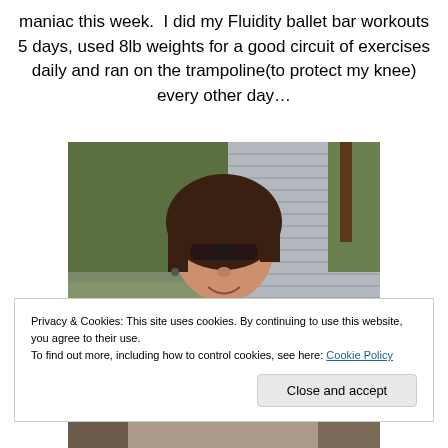maniac this week.  I did my Fluidity ballet bar workouts 5 days, used 8lb weights for a good circuit of exercises daily and ran on the trampoline(to protect my knee) every other day...
[Figure (photo): Woman with brown hair and sunglasses wearing a blue denim jacket, photographed outdoors in front of a house with siding and trees in background]
Privacy & Cookies: This site uses cookies. By continuing to use this website, you agree to their use.
To find out more, including how to control cookies, see here: Cookie Policy
Close and accept